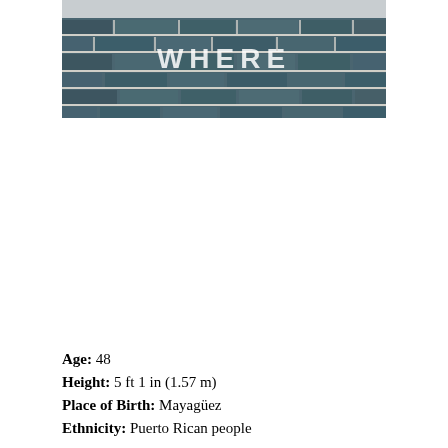[Figure (photo): Photo of a brick wall with the word WHERE painted in white letters on dark teal/slate colored bricks]
Age: 48
Height: 5 ft 1 in (1.57 m)
Place of Birth: Mayagüez
Ethnicity: Puerto Rican people